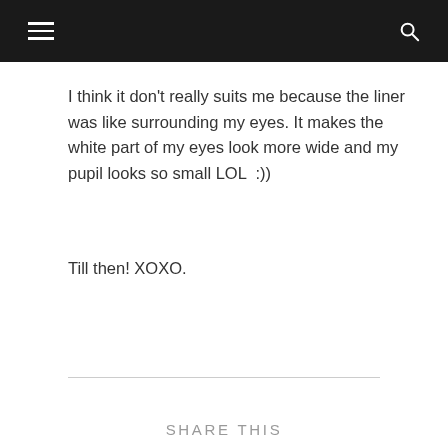[hamburger menu icon] [search icon]
I think it don't really suits me because the liner was like surrounding my eyes. It makes the white part of my eyes look more wide and my pupil looks so small LOL  :))
Till then! XOXO.
SHARE THIS